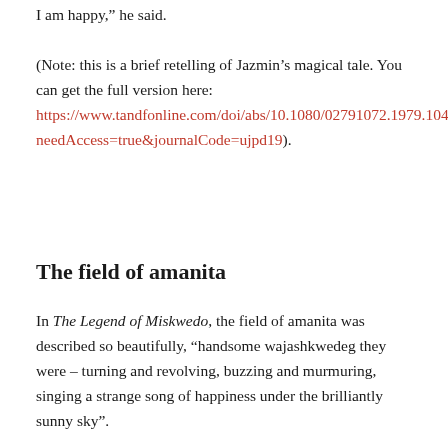I am happy,” he said.
(Note: this is a brief retelling of Jazmin’s magical tale. You can get the full version here: https://www.tandfonline.com/doi/abs/10.1080/02791072.1979.10472089?needAccess=true&journalCode=ujpd19).
The field of amanita
In The Legend of Miskwedo, the field of amanita was described so beautifully, “handsome wajashkwedeg they were – turning and revolving, buzzing and murmuring, singing a strange song of happiness under the brilliantly sunny sky”.